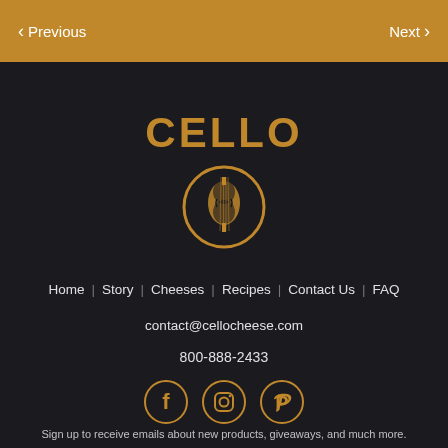Previous   Next
[Figure (logo): Cello brand logo: word CELLO in gold block letters above a circular emblem with a cello instrument illustration in gold on dark background]
Home  Story  Cheeses  Recipes  Contact Us  FAQ
contact@cellocheese.com
800-888-2433
[Figure (other): Three social media icons in gold circles: Facebook (f), Instagram (camera), Pinterest (P)]
Sign up to receive emails about new products, giveaways, and much more.